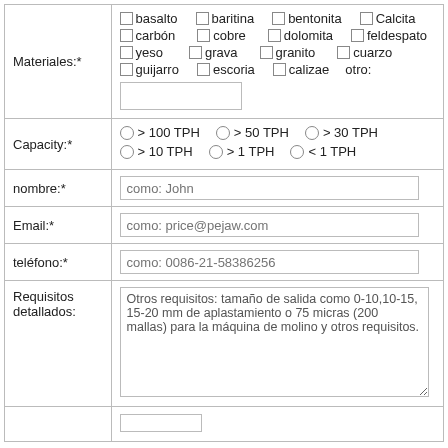| Materiales:* | basalto, baritina, bentonita, Calcita, carbón, cobre, dolomita, feldespato, yeso, grava, granito, cuarzo, guijarro, escoria, calizae, otro: |
| Capacity:* | > 100 TPH, > 50 TPH, > 30 TPH, > 10 TPH, > 1 TPH, < 1 TPH |
| nombre:* | como: John |
| Email:* | como: price@pejaw.com |
| teléfono:* | como: 0086-21-58386256 |
| Requisitos detallados: | Otros requisitos: tamaño de salida como 0-10,10-15, 15-20 mm de aplastamiento o 75 micras (200 mallas) para la máquina de molino y otros requisitos. |
|  |  |